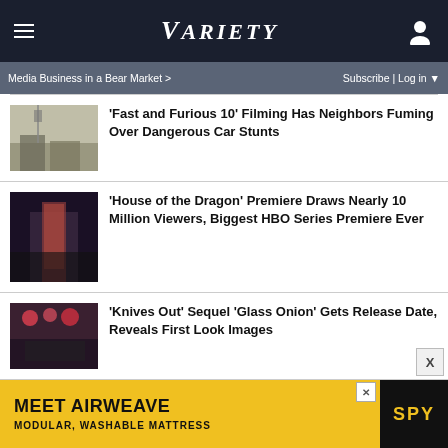VARIETY
Media Business in a Bear Market >    Subscribe | Log in
'Fast and Furious 10' Filming Has Neighbors Fuming Over Dangerous Car Stunts
'House of the Dragon' Premiere Draws Nearly 10 Million Viewers, Biggest HBO Series Premiere Ever
'Knives Out' Sequel 'Glass Onion' Gets Release Date, Reveals First Look Images
'Curb Your Enthusiasm' Renewed for Season 12
[Figure (screenshot): Advertisement for Airweave Modular Washable Mattress with SPY logo]